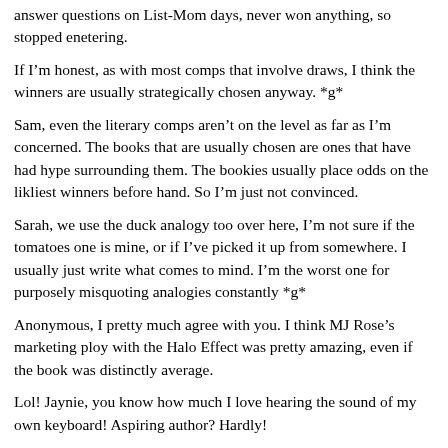answer questions on List-Mom days, never won anything, so stopped enetering.
If I'm honest, as with most comps that involve draws, I think the winners are usually strategically chosen anyway. *g*
Sam, even the literary comps aren't on the level as far as I'm concerned. The books that are usually chosen are ones that have had hype surrounding them. The bookies usually place odds on the likliest winners before hand. So I'm just not convinced.
Sarah, we use the duck analogy too over here, I'm not sure if the tomatoes one is mine, or if I've picked it up from somewhere. I usually just write what comes to mind. I'm the worst one for purposely misquoting analogies constantly *g*
Anonymous, I pretty much agree with you. I think MJ Rose's marketing ploy with the Halo Effect was pretty amazing, even if the book was distinctly average.
Lol! Jaynie, you know how much I love hearing the sound of my own keyboard! Aspiring author? Hardly!
Anne, for me, even if the author had asked for votes, it wouldn't have bothered me whatsoever.